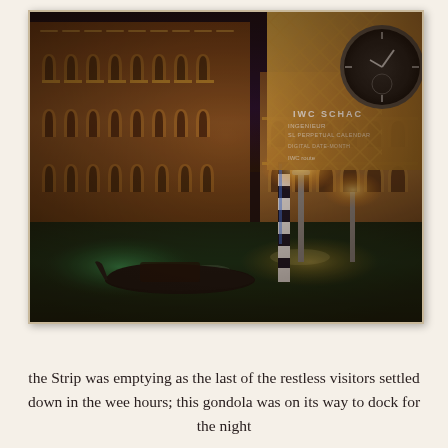[Figure (photo): Night photograph of The Venetian hotel in Las Vegas, showing Venetian Gothic architecture with arched windows illuminated at night, a gondola on the canal in the foreground, a striped mooring pole, and an IWC watch advertisement overlaid in the top right corner.]
the Strip was emptying as the last of the restless visitors settled down in the wee hours; this gondola was on its way to dock for the night